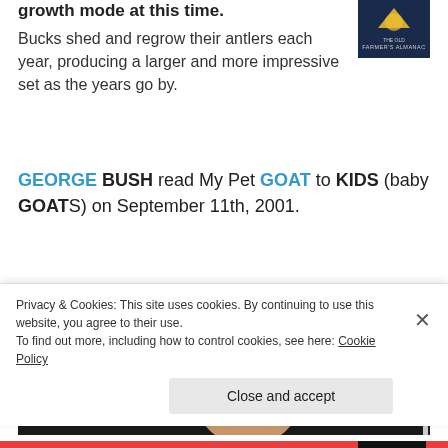growth mode at this time. Bucks shed and regrow their antlers each year, producing a larger and more impressive set as the years go by.
[Figure (photo): Farmer's Almanac logo/book cover in dark blue with yellow moon graphic]
GEORGE BUSH read My Pet GOAT to KIDS (baby GOATS) on September 11th, 2001.
[Figure (photo): Photo of George W. Bush in a classroom with a chalkboard reading 'READING MAKES' visible and children's artwork in the background]
Privacy & Cookies: This site uses cookies. By continuing to use this website, you agree to their use.
To find out more, including how to control cookies, see here: Cookie Policy
Close and accept